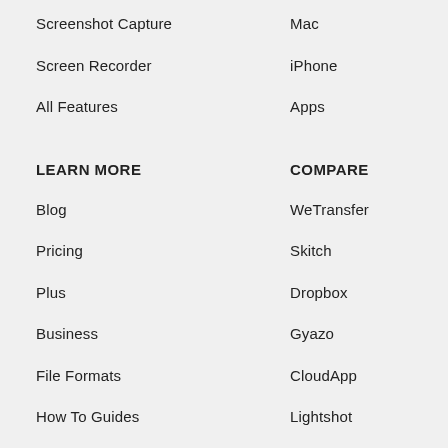Screenshot Capture
Screen Recorder
All Features
LEARN MORE
Blog
Pricing
Plus
Business
File Formats
How To Guides
Mac
iPhone
Apps
COMPARE
WeTransfer
Skitch
Dropbox
Gyazo
CloudApp
Lightshot
Droplr
Loom